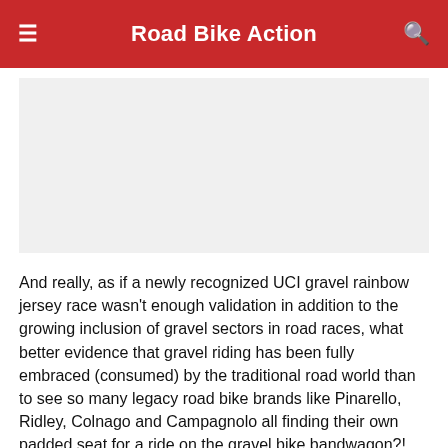Road Bike Action
[Figure (photo): Image placeholder area, light gray background]
And really, as if a newly recognized UCI gravel rainbow jersey race wasn't enough validation in addition to the growing inclusion of gravel sectors in road races, what better evidence that gravel riding has been fully embraced (consumed) by the traditional road world than to see so many legacy road bike brands like Pinarello, Ridley, Colnago and Campagnolo all finding their own padded seat for a ride on the gravel bike bandwagon?! Here's the big collection of 2022 dual-purpose bikes that we rounded up.